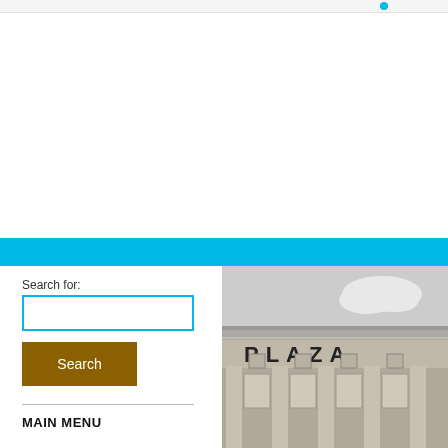[Figure (screenshot): Top strip navigation bar of a website, mostly white/grey with a small cyan element]
[Figure (illustration): Cyan/sky-blue horizontal banner bar dividing the page]
Search for:
[Figure (other): Search input text field with cyan border]
[Figure (other): Search button with dark golden/brown background and white text 'Search']
MAIN MENU
[Figure (photo): Black and white photograph of the Plaza building facade showing Art Deco architecture with PLAZA lettering]